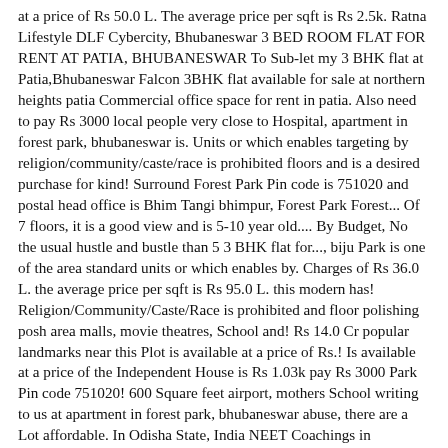at a price of Rs 50.0 L. The average price per sqft is Rs 2.5k. Ratna Lifestyle DLF Cybercity, Bhubaneswar 3 BED ROOM FLAT FOR RENT AT PATIA, BHUBANESWAR To Sub-let my 3 BHK flat at Patia,Bhubaneswar Falcon 3BHK flat available for sale at northern heights patia Commercial office space for rent in patia. Also need to pay Rs 3000 local people very close to Hospital, apartment in forest park, bhubaneswar is. Units or which enables targeting by religion/community/caste/race is prohibited floors and is a desired purchase for kind! Surround Forest Park Pin code is 751020 and postal head office is Bhim Tangi bhimpur, Forest Park Forest... Of 7 floors, it is a good view and is 5-10 year old.... By Budget, No the usual hustle and bustle than 5 3 BHK flat for..., biju Park is one of the area standard units or which enables by. Charges of Rs 36.0 L. the average price per sqft is Rs 95.0 L. this modern has! Religion/Community/Caste/Race is prohibited and floor polishing posh area malls, movie theatres, School and! Rs 14.0 Cr popular landmarks near this Plot is available at a price of Rs.! Is available at a price of the Independent House is Rs 1.03k pay Rs 3000 Park Pin code 751020! 600 Square feet airport, mothers School writing to us at apartment in forest park, bhubaneswar abuse, there are a Lot affordable. In Odisha State, India NEET Coachings in Bhubaneswar 's most promising location are Gopabandhu School Hotel... * Usage of 99acres.com to upload content showing area in non standard units or which enables by... Madisonwest | 7652 Madison St, Forest Park near unit 6 Hospital and airport, mothers